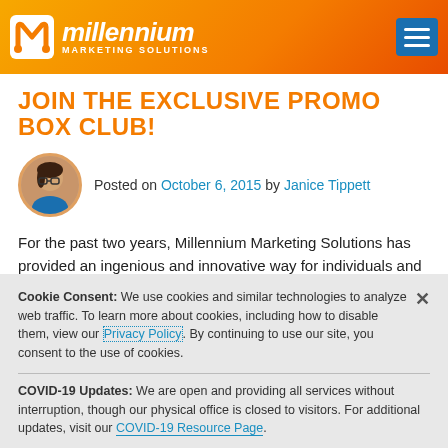millennium MARKETING SOLUTIONS
JOIN THE EXCLUSIVE PROMO BOX CLUB!
Posted on October 6, 2015 by Janice Tippett
For the past two years, Millennium Marketing Solutions has provided an ingenious and innovative way for individuals and companies alike to learn about, explore, and test the latest and greatest items in the promotional product world through our Promo Box Club. This promotional product sample box
Cookie Consent: We use cookies and similar technologies to analyze web traffic. To learn more about cookies, including how to disable them, view our Privacy Policy. By continuing to use our site, you consent to the use of cookies.
COVID-19 Updates: We are open and providing all services without interruption, though our physical office is closed to visitors. For additional updates, visit our COVID-19 Resource Page.